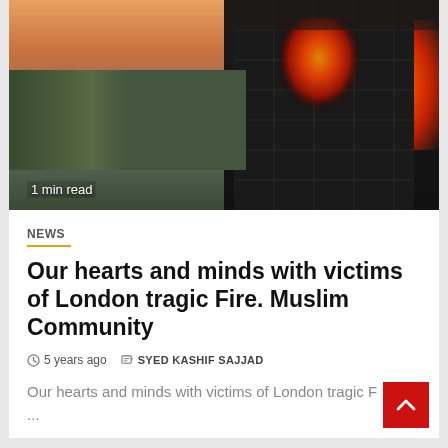[Figure (photo): Aerial photo of the Grenfell Tower fire in London at dusk/dawn showing the burning high-rise tower on the right with flames and smoke, and the London cityscape on the left with a pinkish-orange sky. Text overlay reads '1 min read'.]
1 min read
NEWS
Our hearts and minds with victims of London tragic Fire. Muslim Community
5 years ago   SYED KASHIF SAJJAD
Our hearts and minds with victims of London tragic F
...